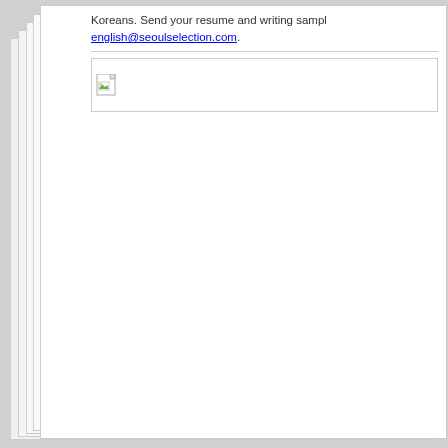Koreans. Send your resume and writing sampl english@seoulselection.com.
[Figure (other): Broken image placeholder icon (document with green leaf/image icon) inside a bordered box]